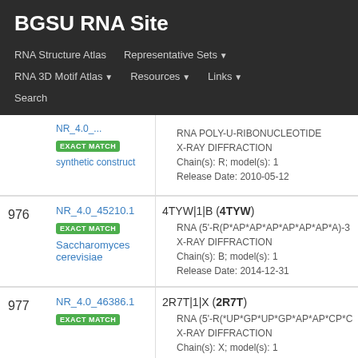BGSU RNA Site
RNA Structure Atlas
Representative Sets
RNA 3D Motif Atlas
Resources
Links
Search
| # | ID | Details |
| --- | --- | --- |
|  | NR_4.0_... (truncated) | EXACT MATCH
synthetic construct | RNA POLY-U-RIBONUCLEOTIDE
X-RAY DIFFRACTION
Chain(s): R; model(s): 1
Release Date: 2010-05-12 |
| 976 | NR_4.0_45210.1 | EXACT MATCH
Saccharomyces cerevisiae | 4TYW|1|B (4TYW)
RNA (5'-R(P*AP*AP*AP*AP*AP*AP*A)-3
X-RAY DIFFRACTION
Chain(s): B; model(s): 1
Release Date: 2014-12-31 |
| 977 | NR_4.0_46386.1 | EXACT MATCH | 2R7T|1|X (2R7T)
RNA (5'-R(*UP*GP*UP*GP*AP*AP*CP*C
X-RAY DIFFRACTION
Chain(s): X; model(s): 1 |